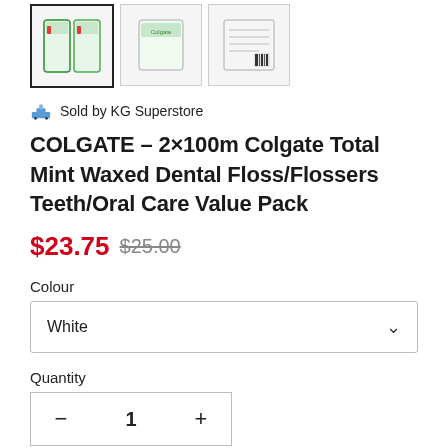[Figure (photo): Three thumbnail images of Colgate dental floss product packaging, the first one selected with a bold border]
Sold by KG Superstore
COLGATE – 2×100m Colgate Total Mint Waxed Dental Floss/Flossers Teeth/Oral Care Value Pack
$23.75  $25.00
Colour
White
Quantity
- 1 +